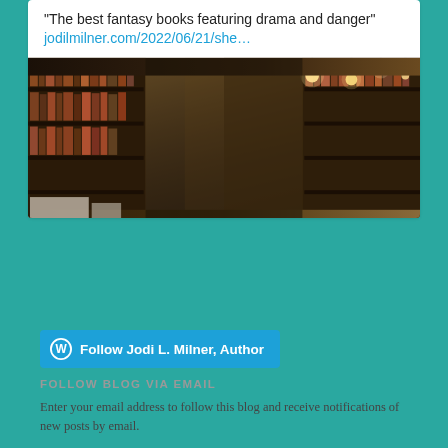"The best fantasy books featuring drama and danger" jodilmilner.com/2022/06/21/she…
[Figure (photo): Interior of a long library corridor with wooden bookshelves lined with books on both sides, receding into the distance with warm hanging Edison bulb lights overhead.]
jodilmilner.com
Follow Jodi L. Milner, Author
FOLLOW BLOG VIA EMAIL
Enter your email address to follow this blog and receive notifications of new posts by email.